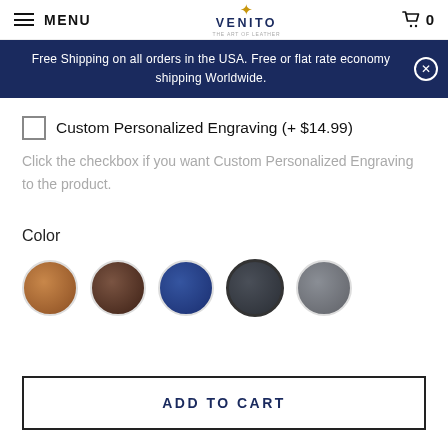MENU | VENITO | 0
Free Shipping on all orders in the USA. Free or flat rate economy shipping Worldwide.
Custom Personalized Engraving (+ $14.99)
Click the checkbox if you want Custom Personalized Engraving to the product.
Color
[Figure (other): Five circular color swatches: tan/cognac, dark brown, navy blue, dark charcoal (selected/outlined), and gray]
ADD TO CART